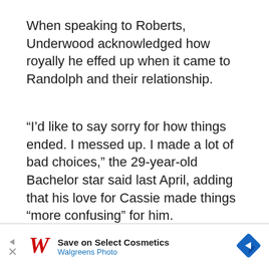When speaking to Roberts, Underwood acknowledged how royally he effed up when it came to Randolph and their relationship.
“I’d like to say sorry for how things ended. I messed up. I made a lot of bad choices,” the 29-year-old Bachelor star said last April, adding that his love for Cassie made things “more confusing” for him.
“I would just say that I’m sorry from the bottom of my heart.
[Figure (other): Pink heart favorite button (FAB) and share button]
[Figure (other): Walgreens advertisement banner: Save on Select Cosmetics, Walgreens Photo]